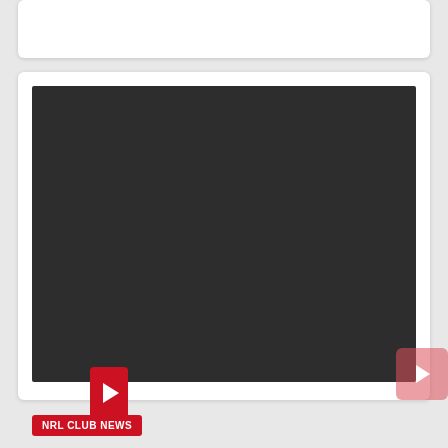[Figure (screenshot): Top white card area, partially visible at top of page]
[Figure (screenshot): Dark video player area with a red play button in the lower-left corner, embedded in a white card]
[Figure (screenshot): Pink/red semi-transparent play button overlay in lower-right corner of the page]
NRL CLUB NEWS